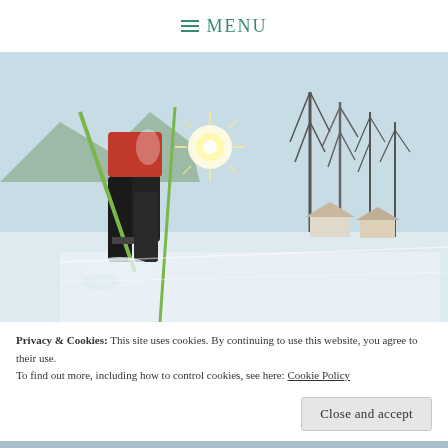MENU
[Figure (photo): Cross-country skier in action on a snowy landscape with bare trees and alpine village in background, bright sun flare visible]
Privacy & Cookies: This site uses cookies. By continuing to use this website, you agree to their use.
To find out more, including how to control cookies, see here: Cookie Policy
Close and accept